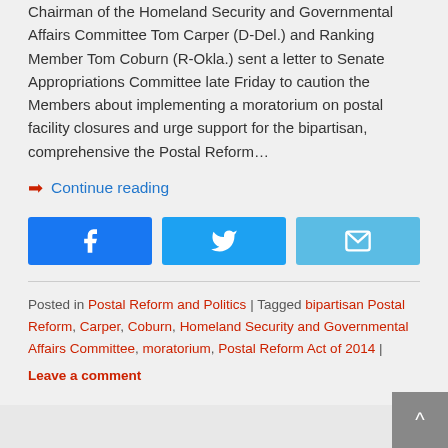Chairman of the Homeland Security and Governmental Affairs Committee Tom Carper (D-Del.) and Ranking Member Tom Coburn (R-Okla.) sent a letter to Senate Appropriations Committee late Friday to caution the Members about implementing a moratorium on postal facility closures and urge support for the bipartisan, comprehensive the Postal Reform...
➡ Continue reading
[Figure (other): Three social share buttons: Facebook (blue), Twitter (light blue), Email (lighter blue)]
Posted in Postal Reform and Politics | Tagged bipartisan Postal Reform, Carper, Coburn, Homeland Security and Governmental Affairs Committee, moratorium, Postal Reform Act of 2014 | Leave a comment